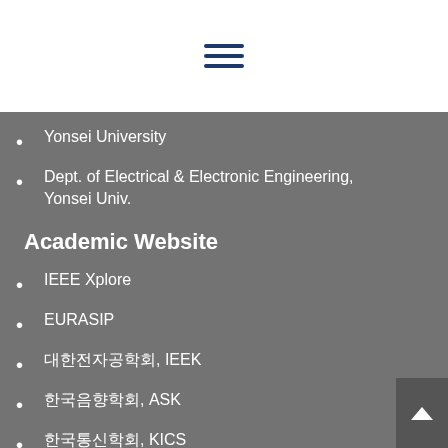[Figure (other): Hamburger menu icon with three horizontal dark blue lines]
Yonsei University
Dept. of Electrical & Electronic Engineering, Yonsei Univ.
Academic Website
IEEE Xplore
EURASIP
대한전자공학회, IEEK
한국음향학회, ASK
한국통신학회, KICS